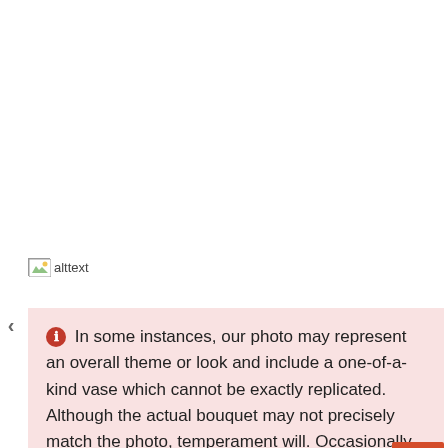[Figure (photo): Broken/missing image placeholder with alt text 'alttext', shown in top portion of page]
In some instances, our photo may represent an overall theme or look and include a one-of-a-kind vase which cannot be exactly replicated. Although the actual bouquet may not precisely match the photo, temperament will. Occasionally, substitutions of